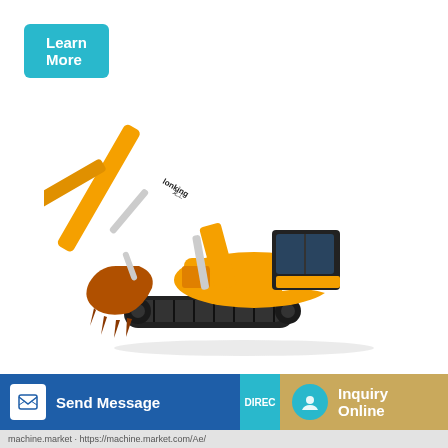Learn More
[Figure (photo): Orange Lonking hydraulic crawler excavator on white background, arm extended upward and to the left with bucket attachment, black cab and undercarriage tracks]
VOLVO COMPACT EXCAVATOR EC70 - cdn.machine.market
Send Message
Inquiry Online
machine.market · https://machine.market.com/Ae/